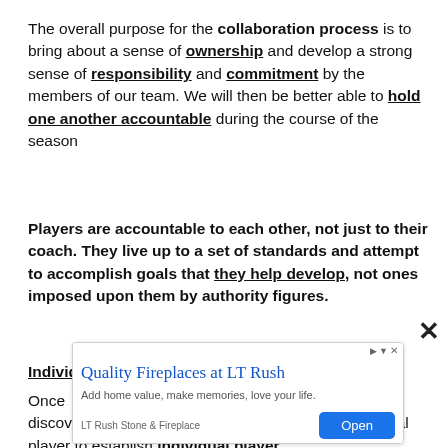The overall purpose for the collaboration process is to bring about a sense of ownership and develop a strong sense of responsibility and commitment by the members of our team. We will then be better able to hold one another accountable during the course of the season
Players are accountable to each other, not just to their coach. They live up to a set of standards and attempt to accomplish goals that they help develop, not ones imposed upon them by authority figures.
Individual Roles
Once ... and discov... with each individual player to establish individual player
[Figure (other): Advertisement overlay for LT Rush Stone & Fireplace with title 'Quality Fireplaces at LT Rush', subtitle 'Add home value, make memories, love your life.', brand 'LT Rush Stone & Fireplace', and an Open button]